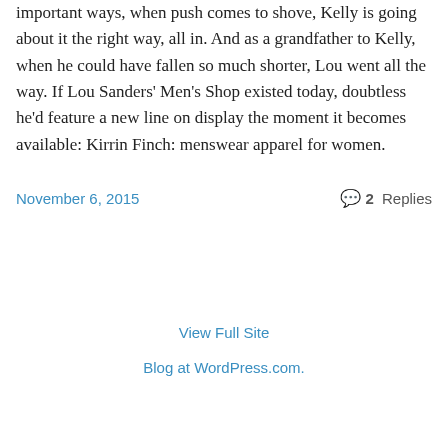important ways, when push comes to shove, Kelly is going about it the right way, all in. And as a grandfather to Kelly, when he could have fallen so much shorter, Lou went all the way. If Lou Sanders' Men's Shop existed today, doubtless he'd feature a new line on display the moment it becomes available: Kirrin Finch: menswear apparel for women.
November 6, 2015
2 Replies
View Full Site
Blog at WordPress.com.